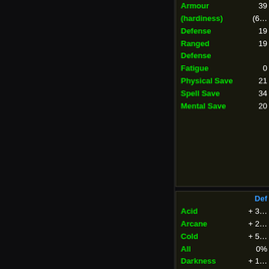[Figure (screenshot): Dark-themed RPG game UI showing character stats. Left portion is dark background. Right side shows two panels with green text stats on dark background. Top panel shows: Armour 39, (hardiness) (6something), Defense 19, Ranged Defense 19, Fatigue 0, Physical Save 21, Spell Save 34, Mental Save 20. Bottom panel shows header 'Def' in blue, with stats: Acid +3something, Arcane +2something, Cold +5something, All 0%, Darkness +1something, Light +6something.]